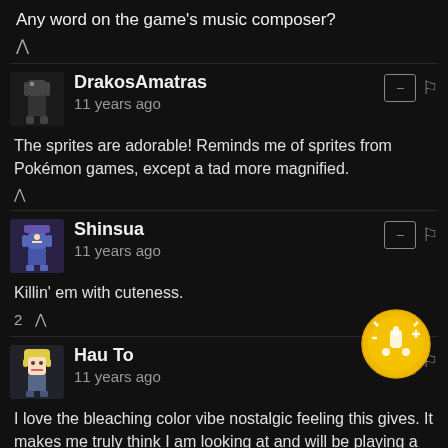Any word on the game's music composer?
^
DrakosAmatras
11 years ago
The sprites are adorable! Reminds me of sprites from Pokémon games, except a tad more magnified.
^
Shinsua
11 years ago
Killin' em with cuteness.
2 ^
Hau To
11 years ago
I love the bleaching color vibe nostalgic feeling this gives. It makes me truly think I am looking at and will be playing a old school traditional rpg.
^